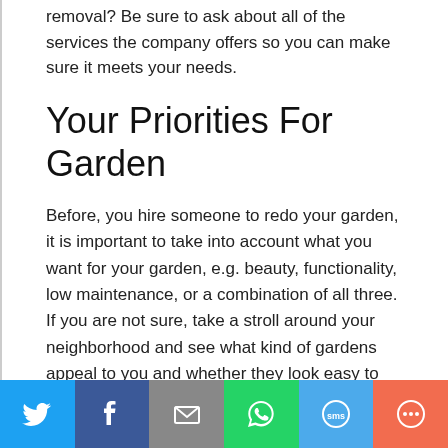removal? Be sure to ask about all of the services the company offers so you can make sure it meets your needs.
Your Priorities For Garden
Before, you hire someone to redo your garden, it is important to take into account what you want for your garden, e.g. beauty, functionality, low maintenance, or a combination of all three.  If you are not sure, take a stroll around your neighborhood and see what kind of gardens appeal to you and whether they look easy to maintain.
[Figure (infographic): Social sharing bar with Twitter, Facebook, Email, WhatsApp, SMS, and More buttons]